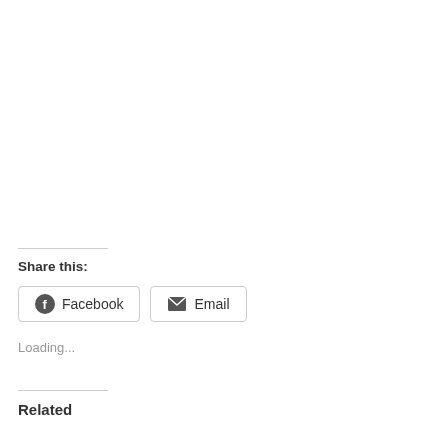Share this:
Facebook
Email
Loading...
Related